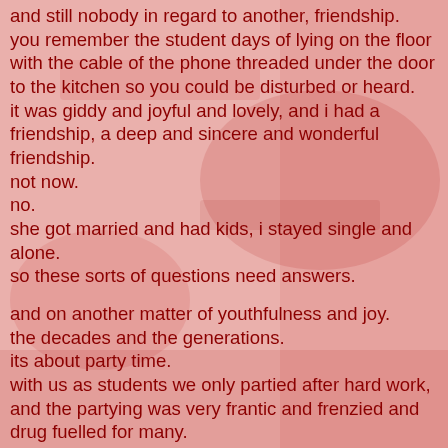and still nobody in regard to another, friendship.
you remember the student days of lying on the floor with the cable of the phone threaded under the door to the kitchen so you could be disturbed or heard.
it was giddy and joyful and lovely, and i had a friendship, a deep and sincere and wonderful friendship.
not now.
no.
she got married and had kids, i stayed single and alone.
so these sorts of questions need answers.

and on another matter of youthfulness and joy.
the decades and the generations.
its about party time.
with us as students we only partied after hard work, and the partying was very frantic and frenzied and drug fuelled for many.
but life was tough.
we didnt have a cent.
we had to work to get through college, and work to put a roof over our head and when all was said and done, if your chosen path was not being say a doctor but artist instead